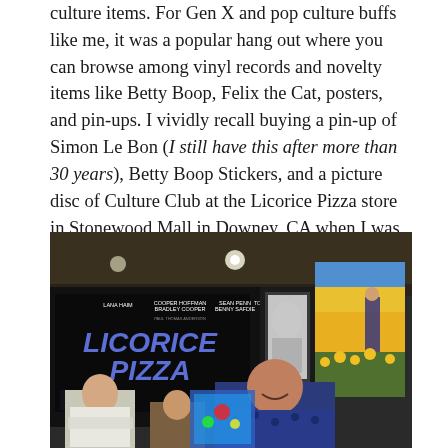culture items. For Gen X and pop culture buffs like me, it was a popular hang out where you can browse among vinyl records and novelty items like Betty Boop, Felix the Cat, posters, and pin-ups. I vividly recall buying a pin-up of Simon Le Bon (I still have this after more than 30 years), Betty Boop Stickers, and a picture disc of Culture Club at the Licorice Pizza store in Stonewood Mall in Downey, CA when I was 13 years young.
[Figure (photo): Interior of a record/music store with movie posters on the walls including a Licorice Pizza film poster. Several people are visible including a woman smiling at the camera and a younger woman. Colorful album art and posters are on the walls including one with a figure standing in a sunflower field.]